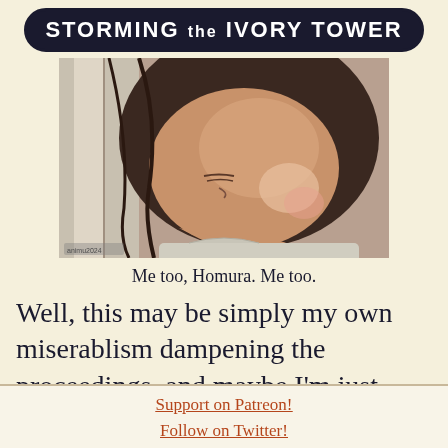STORMING the IVORY TOWER
[Figure (illustration): Anime screenshot showing a close-up of a character's face (Homura) from below, with dramatic lighting, dark hair, and a subtle expression. The image has warm brown and grey tones.]
Me too, Homura. Me too.
Well, this may be simply my own miserablism dampening the proceedings, and maybe I'm just unduly affected by the rather grim
Support on Patreon!
Follow on Twitter!